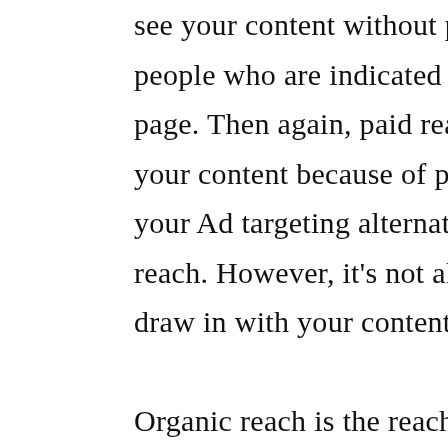see your content without paid dissemination. It incorporates people who are indicated in your posts just as your Facebook page. Then again, paid reach incorporates the people who see your content because of paid advancements. It is affected by your Ad targeting alternatives and can likewise affect organic reach. However, it's not all that straightforward. How people draw in with your content has a ton to do with reach.

Organic reach is the reach Facebook gives you for nothing. It occurs in the news feed